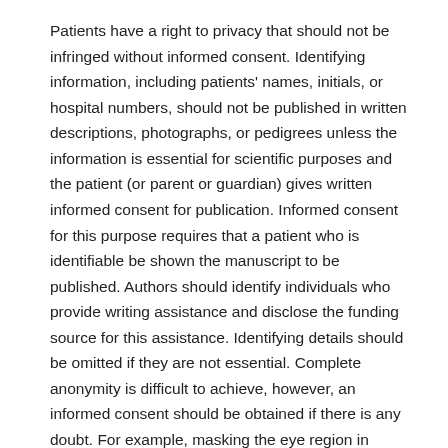Patients have a right to privacy that should not be infringed without informed consent. Identifying information, including patients' names, initials, or hospital numbers, should not be published in written descriptions, photographs, or pedigrees unless the information is essential for scientific purposes and the patient (or parent or guardian) gives written informed consent for publication. Informed consent for this purpose requires that a patient who is identifiable be shown the manuscript to be published. Authors should identify individuals who provide writing assistance and disclose the funding source for this assistance. Identifying details should be omitted if they are not essential. Complete anonymity is difficult to achieve, however, an informed consent should be obtained if there is any doubt. For example, masking the eye region in photographs of patients is